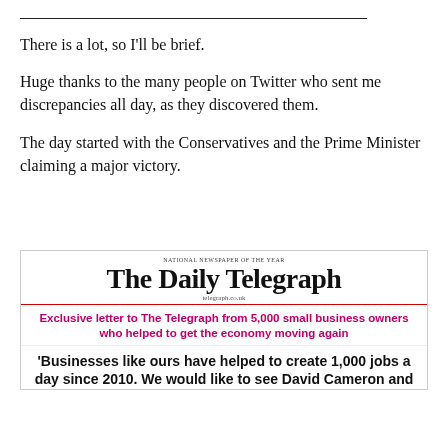There is a lot, so I’ll be brief.
Huge thanks to the many people on Twitter who sent me discrepancies all day, as they discovered them.
The day started with the Conservatives and the Prime Minister claiming a major victory.
[Figure (screenshot): Newspaper front page: The Daily Telegraph masthead with tagline 'NATIONAL NEWSPAPER OF THE YEAR' and website telegraph.co.uk. Pink/red subheadline: 'Exclusive letter to The Telegraph from 5,000 small business owners who helped to get the economy moving again'. Bold black headline: '‘Businesses like ours have helped to create 1,000 jobs a day since 2010. We would like to see David Cameron and']